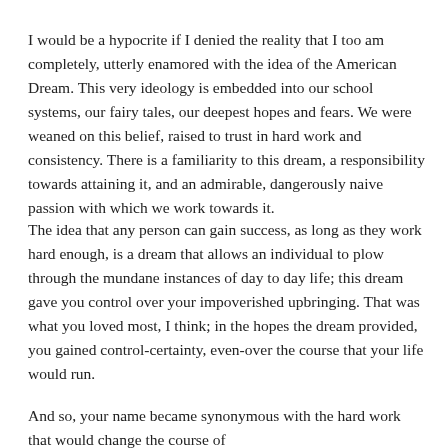I would be a hypocrite if I denied the reality that I too am completely, utterly enamored with the idea of the American Dream. This very ideology is embedded into our school systems, our fairy tales, our deepest hopes and fears. We were weaned on this belief, raised to trust in hard work and consistency. There is a familiarity to this dream, a responsibility towards attaining it, and an admirable, dangerously naive passion with which we work towards it.
The idea that any person can gain success, as long as they work hard enough, is a dream that allows an individual to plow through the mundane instances of day to day life; this dream gave you control over your impoverished upbringing. That was what you loved most, I think; in the hopes the dream provided, you gained control-certainty, even-over the course that your life would run.
And so, your name became synonymous with the hard work that would change the course...